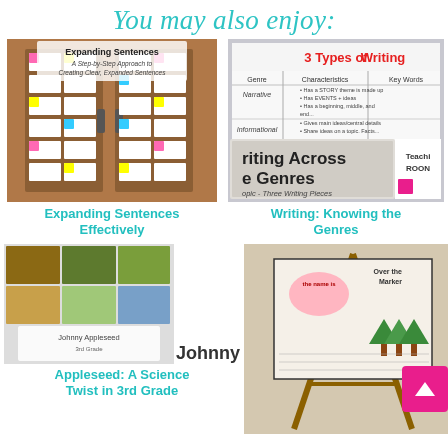You may also enjoy:
[Figure (photo): Classroom door covered with worksheets and colorful sticky notes – Expanding Sentences resource preview]
[Figure (photo): Chart showing 3 Types of Writing with Writing Across the Genres activity overlay]
Expanding Sentences Effectively
Writing: Knowing the Genres
[Figure (photo): Johnny Appleseed: A Science Twist in 3rd Grade thumbnail showing app grid and outdoor scenes]
Johnny Appleseed: A Science Twist in 3rd Grade
[Figure (photo): Student writing books displayed on a stand, with illustrated covers and handwritten pages]